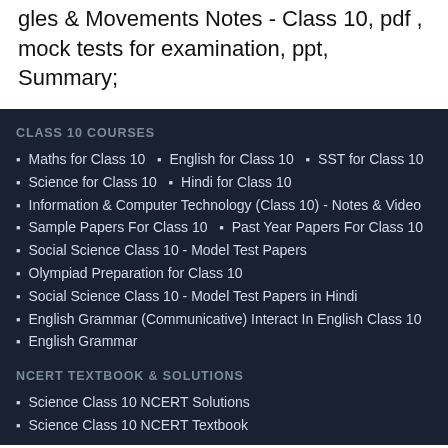gles & Movements Notes - Class 10, pdf , mock tests for examination, ppt, Summary;
CLASS 10 COURSES
Maths for Class 10
English for Class 10
SST for Class 10
Science for Class 10
Hindi for Class 10
Information & Computer Technology (Class 10) - Notes & Video
Sample Papers For Class 10
Past Year Papers For Class 10
Social Science Class 10 - Model Test Papers
Olympiad Preparation for Class 10
Social Science Class 10 - Model Test Papers in Hindi
English Grammar (Communicative) Interact In English Class 10
English Grammar
NCERT TEXTBOOK & SOLUTIONS
Science Class 10 NCERT Solutions
Science Class 10 NCERT Textbook